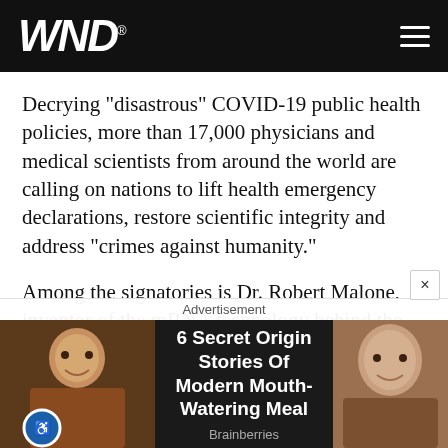WND
Decrying "disastrous" COVID-19 public health policies, more than 17,000 physicians and medical scientists from around the world are calling on nations to lift health emergency declarations, restore scientific integrity and address "crimes against humanity."
Among the signatories is Dr. Robert Malone, inventor of the mRNA technology behind the Pfizer and Moderna vaccines, who argues that the concerns raised in the declaration go beyond COVID-19, threatening
Advertisement
6 Secret Origin Stories Of Modern Mouth-Watering Meal
Brainberries